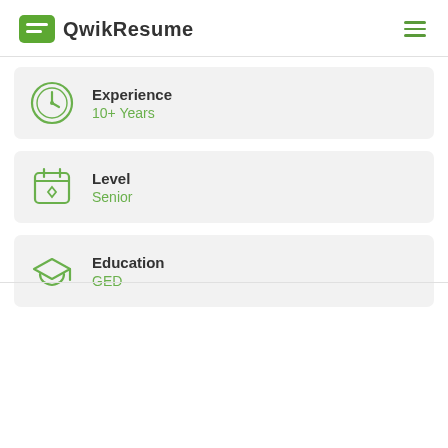QwikResume
Experience
10+ Years
Level
Senior
Education
GED